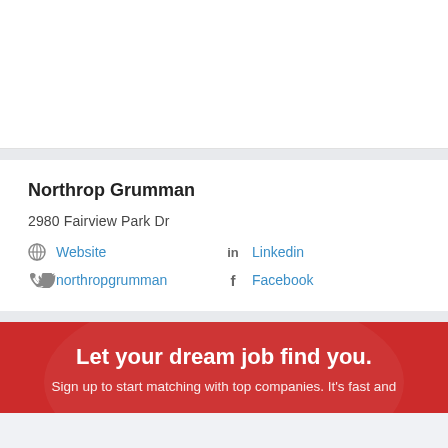[Figure (other): White card area with no visible content (top section)]
Northrop Grumman
2980 Fairview Park Dr
Website
Linkedin
northropgrumman
Facebook
Let your dream job find you.
Sign up to start matching with top companies. It's fast and